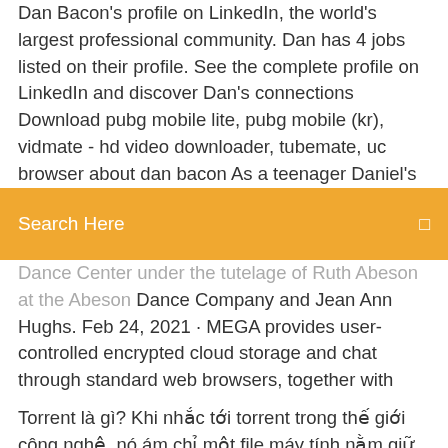Dan Bacon's profile on LinkedIn, the world's largest professional community. Dan has 4 jobs listed on their profile. See the complete profile on LinkedIn and discover Dan's connections Download pubg mobile lite, pubg mobile (kr), vidmate - hd video downloader, tubemate, uc browser about dan bacon As a teenager Daniel's dedication manifests itself as both a singer
[Figure (screenshot): Orange search bar with text 'Search Here' and a search icon on the right]
Dance Center under the tutelage of Ruth Abeson at the Abeson Dance Company and Jean Ann Hughs. Feb 24, 2021 · MEGA provides user-controlled encrypted cloud storage and chat through standard web browsers, together with dedicated apps for mobile devices. dan_bacon's tracks When My Girlfriend Cheated on Me by dan_bacon published on 2017-01-30T08:16:37Z. Jenny McCarthy (Hollywood actress)
Torrent là gì? Khi nhắc tới torrent trong thế giới công nghệ, nó ám chỉ một file máy tính nằm giữ metadata bao gồm nhiều